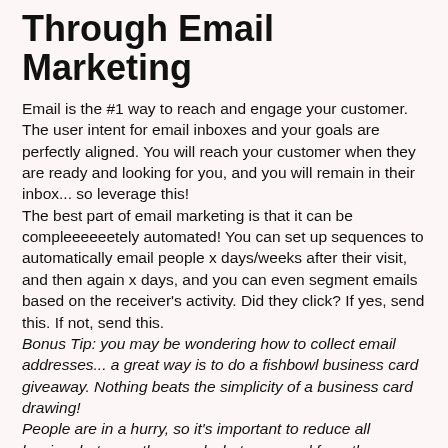Through Email Marketing
Email is the #1 way to reach and engage your customer. The user intent for email inboxes and your goals are perfectly aligned. You will reach your customer when they are ready and looking for you, and you will remain in their inbox... so leverage this!
The best part of email marketing is that it can be compleeeeeetely automated! You can set up sequences to automatically email people x days/weeks after their visit, and then again x days, and you can even segment emails based on the receiver's activity. Did they click? If yes, send this. If not, send this.
Bonus Tip: you may be wondering how to collect email addresses... a great way is to do a fishbowl business card giveaway. Nothing beats the simplicity of a business card drawing!
People are in a hurry, so it's important to reduce all barriers between them and what you need from them. Instead of asking them to spell out their email address (who has time for that?) just have them drop their business card for the